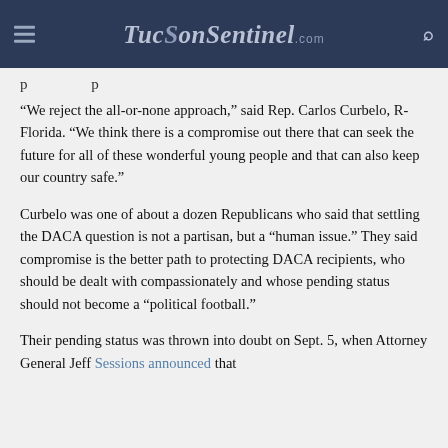TucsonSentinel.com
p p
“We reject the all-or-none approach,” said Rep. Carlos Curbelo, R-Florida. “We think there is a compromise out there that can seek the future for all of these wonderful young people and that can also keep our country safe.”
Curbelo was one of about a dozen Republicans who said that settling the DACA question is not a partisan, but a “human issue.” They said compromise is the better path to protecting DACA recipients, who should be dealt with compassionately and whose pending status should not become a “political football.”
Their pending status was thrown into doubt on Sept. 5, when Attorney General Jeff Sessions announced that